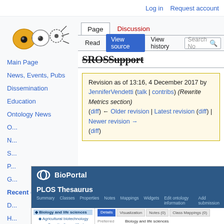Log in   Request account
[Figure (logo): Wiki-style logo with cell/organism icons and dashed circles]
Page  Discussion  Read  View source  View history  Search N...
SROSSupport (strikethrough)
Revision as of 13:16, 4 December 2017 by JenniferVendetti (talk | contribs) (Rewrite Metrics section) (diff) ← Older revision | Latest revision (diff) | Newer revision → (diff)
Main Page
News, Events, Pubs
Dissemination
Education
Ontology News
[Figure (screenshot): BioPortal PLOS Thesaurus page showing Biology and life sciences ontology details including Preferred Name, ID, alpha, homepage fields and a tree navigation on the left]